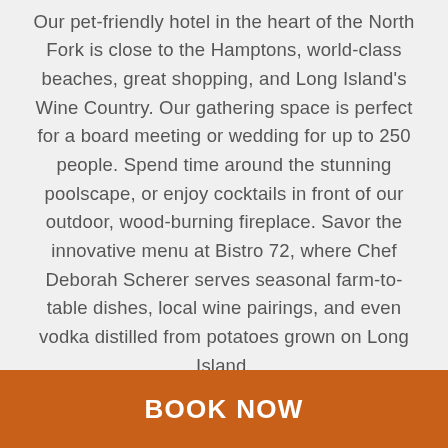Our pet-friendly hotel in the heart of the North Fork is close to the Hamptons, world-class beaches, great shopping, and Long Island's Wine Country. Our gathering space is perfect for a board meeting or wedding for up to 250 people. Spend time around the stunning poolscape, or enjoy cocktails in front of our outdoor, wood-burning fireplace. Savor the innovative menu at Bistro 72, where Chef Deborah Scherer serves seasonal farm-to-table dishes, local wine pairings, and even vodka distilled from potatoes grown on Long Island.
BOOK NOW